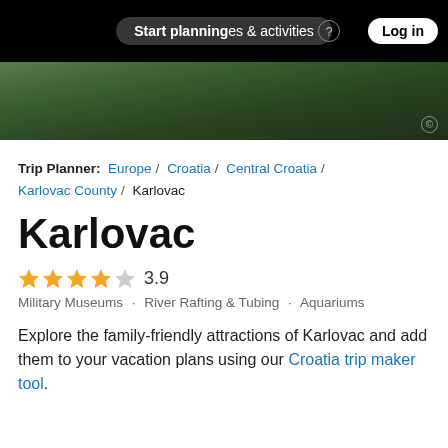Start planning   places & activities   Log in
[Figure (photo): Hero image of Karlovac landscape with green forested hills and waterfall, dark nature scenery]
Trip Planner: Europe / Croatia / Central Croatia / Karlovac County / Karlovac
Karlovac
3.9 stars rating — Military Museums · River Rafting & Tubing · Aquariums
Explore the family-friendly attractions of Karlovac and add them to your vacation plans using our Croatia trip maker tool.